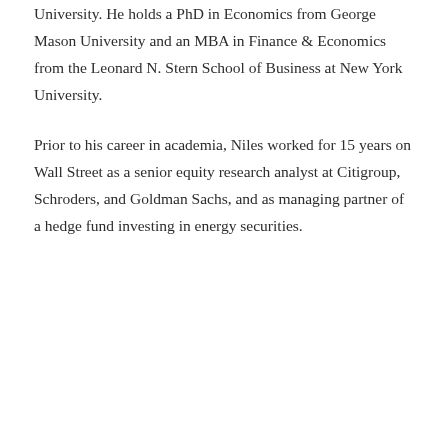University. He holds a PhD in Economics from George Mason University and an MBA in Finance & Economics from the Leonard N. Stern School of Business at New York University.
Prior to his career in academia, Niles worked for 15 years on Wall Street as a senior equity research analyst at Citigroup, Schroders, and Goldman Sachs, and as managing partner of a hedge fund investing in energy securities.